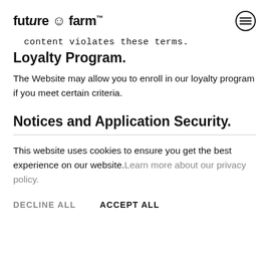future © farm™
content violates these terms.
Loyalty Program.
The Website may allow you to enroll in our loyalty program if you meet certain criteria.
Notices and Application Security.
This website uses cookies to ensure you get the best experience on our website. Learn more about our privacy policy.
DECLINE ALL
ACCEPT ALL